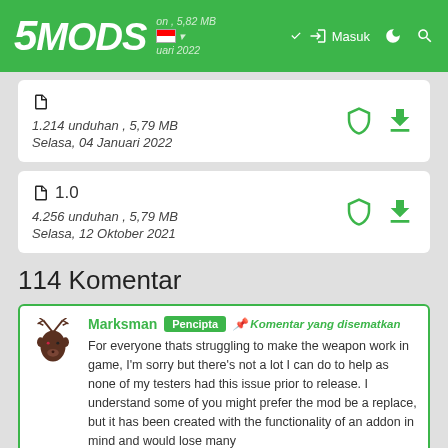5MODS | Masuk
1.214 unduhan , 5,79 MB
Selasa, 04 Januari 2022
1.0
4.256 unduhan , 5,79 MB
Selasa, 12 Oktober 2021
114 Komentar
Marksman Pencipta 📌 Komentar yang disematkan
For everyone thats struggling to make the weapon work in game, I'm sorry but there's not a lot I can do to help as none of my testers had this issue prior to release. I understand some of you might prefer the mod be a replace, but it has been created with the functionality of an addon in mind and would lose many